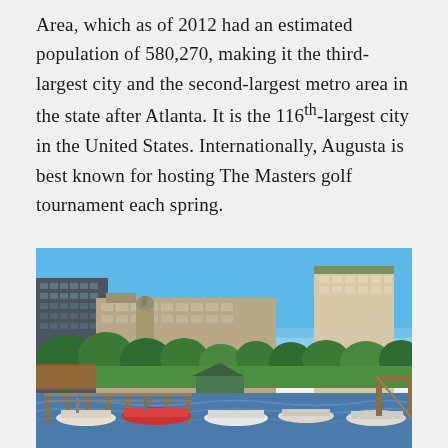Area, which as of 2012 had an estimated population of 580,270, making it the third-largest city and the second-largest metro area in the state after Atlanta. It is the 116th-largest city in the United States. Internationally, Augusta is best known for hosting The Masters golf tournament each spring.
[Figure (photo): Waterfront cityscape of Augusta, Georgia showing marina with boats in the foreground, green trees and parkland in the middle ground, and several large buildings including a dark glass office tower on the left and a tall beige hotel/residential tower on the right, under a clear blue sky.]